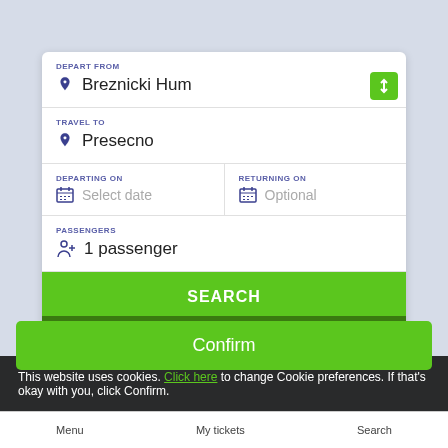DEPART FROM
Breznicki Hum
TRAVEL TO
Presecno
DEPARTING ON
Select date
RETURNING ON
Optional
PASSENGERS
1 passenger
SEARCH
This website uses cookies. Click here to change Cookie preferences. If that's okay with you, click Confirm.
Confirm
Menu
My tickets
Search